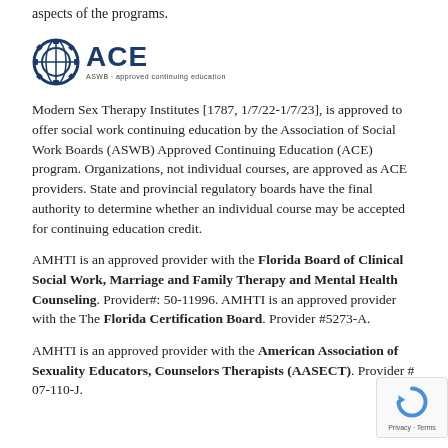aspects of the programs.
[Figure (logo): ASWB ACE - approved continuing education logo with gear icon and bold ACE text]
Modern Sex Therapy Institutes [1787, 1/7/22-1/7/23], is approved to offer social work continuing education by the Association of Social Work Boards (ASWB) Approved Continuing Education (ACE) program. Organizations, not individual courses, are approved as ACE providers. State and provincial regulatory boards have the final authority to determine whether an individual course may be accepted for continuing education credit.
AMHTI is an approved provider with the Florida Board of Clinical Social Work, Marriage and Family Therapy and Mental Health Counseling. Provider#: 50-11996. AMHTI is an approved provider with the The Florida Certification Board. Provider #5273-A.
AMHTI is an approved provider with the American Association of Sexuality Educators, Counselors Therapists (AASECT). Provider # 07-110-J.